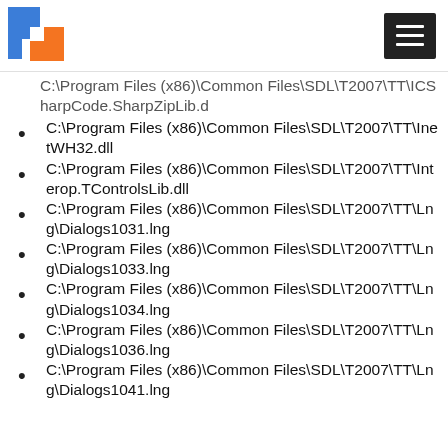SDL logo and hamburger menu
C:\Program Files (x86)\Common Files\SDL\T2007\TT\ICSharpCode.SharpZipLib.d
C:\Program Files (x86)\Common Files\SDL\T2007\TT\InetWH32.dll
C:\Program Files (x86)\Common Files\SDL\T2007\TT\Interop.TControlsLib.dll
C:\Program Files (x86)\Common Files\SDL\T2007\TT\Lng\Dialogs1031.lng
C:\Program Files (x86)\Common Files\SDL\T2007\TT\Lng\Dialogs1033.lng
C:\Program Files (x86)\Common Files\SDL\T2007\TT\Lng\Dialogs1034.lng
C:\Program Files (x86)\Common Files\SDL\T2007\TT\Lng\Dialogs1036.lng
C:\Program Files (x86)\Common Files\SDL\T2007\TT\Lng\Dialogs1041.lng